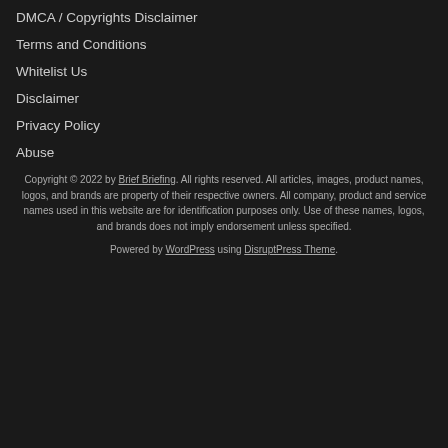DMCA / Copyrights Disclaimer
Terms and Conditions
Whitelist Us
Disclaimer
Privacy Policy
Abuse
Copyright © 2022 by Brief Briefing. All rights reserved. All articles, images, product names, logos, and brands are property of their respective owners. All company, product and service names used in this website are for identification purposes only. Use of these names, logos, and brands does not imply endorsement unless specified.
Powered by WordPress using DisruptPress Theme.